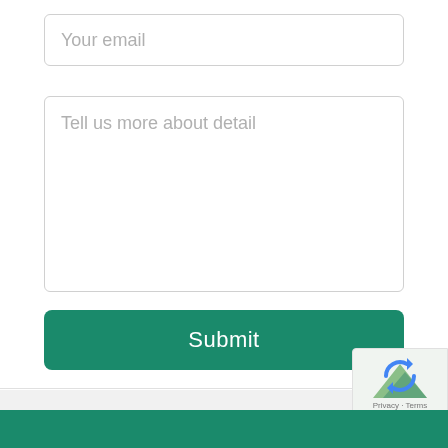Your email
Tell us more about detail
Submit
[Figure (screenshot): reCAPTCHA badge with logo and Privacy - Terms text]
Privacy · Terms